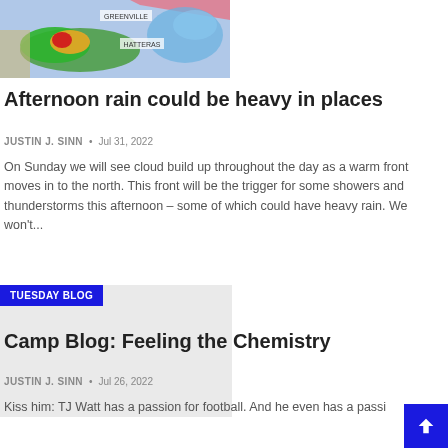[Figure (photo): Weather radar map showing storm system with green/red/orange over southeastern US, labels GREENVILLE and HATTERAS visible]
Afternoon rain could be heavy in places
JUSTIN J. SINN  •  Jul 31, 2022
On Sunday we will see cloud build up throughout the day as a warm front moves in to the north. This front will be the trigger for some showers and thunderstorms this afternoon – some of which could have heavy rain. We won't...
[Figure (photo): Blog thumbnail image placeholder with TUESDAY BLOG badge overlay in blue]
Camp Blog: Feeling the Chemistry
JUSTIN J. SINN  •  Jul 26, 2022
Kiss him: TJ Watt has a passion for football. And he even has a passi